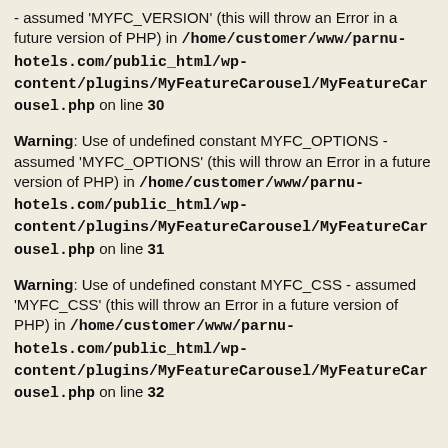- assumed 'MYFC_VERSION' (this will throw an Error in a future version of PHP) in /home/customer/www/parnu-hotels.com/public_html/wp-content/plugins/MyFeatureCarousel/MyFeatureCarousel.php on line 30
Warning: Use of undefined constant MYFC_OPTIONS - assumed 'MYFC_OPTIONS' (this will throw an Error in a future version of PHP) in /home/customer/www/parnu-hotels.com/public_html/wp-content/plugins/MyFeatureCarousel/MyFeatureCarousel.php on line 31
Warning: Use of undefined constant MYFC_CSS - assumed 'MYFC_CSS' (this will throw an Error in a future version of PHP) in /home/customer/www/parnu-hotels.com/public_html/wp-content/plugins/MyFeatureCarousel/MyFeatureCarousel.php on line 32